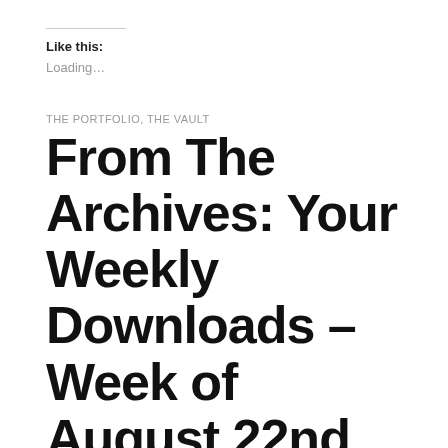Like this:
Loading…
THE PORTFOLIO, THE VAULT
From The Archives: Your Weekly Downloads – Week of August 22nd 2010
by Nicholas C. Martinez • May 20, 2012 • 0 Comments
Editor's Note: In this edition of From The Archives, we revisit one of my Weekly Downloads columns originally